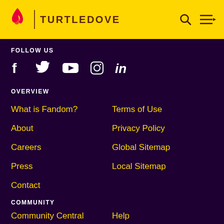TURTLEDOVE
FOLLOW US
[Figure (other): Social media icons: Facebook, Twitter, YouTube, Instagram, LinkedIn]
OVERVIEW
What is Fandom?
Terms of Use
About
Privacy Policy
Careers
Global Sitemap
Press
Local Sitemap
Contact
COMMUNITY
Community Central
Help